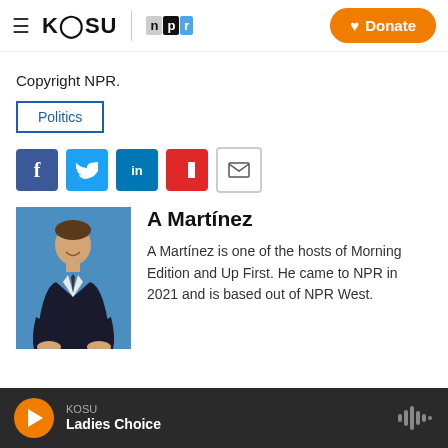KOSU | NPR — Donate
Copyright NPR.
Politics
[Figure (other): Social sharing icons: Facebook, Twitter, LinkedIn, Flipboard, Email]
[Figure (photo): Photo of A Martínez, a man in a dark suit, smiling, against a blue background]
A Martínez
A Martínez is one of the hosts of Morning Edition and Up First. He came to NPR in 2021 and is based out of NPR West.
KOSU — Ladies Choice